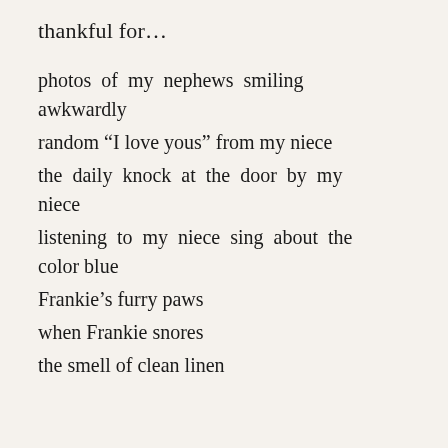thankful for…
photos of my nephews smiling awkwardly
random “I love yous” from my niece
the daily knock at the door by my niece
listening to my niece sing about the color blue
Frankie’s furry paws
when Frankie snores
the smell of clean linen